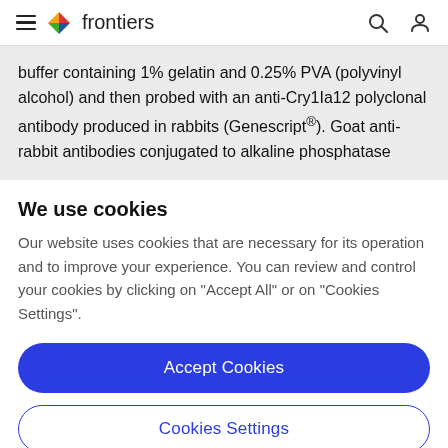frontiers
buffer containing 1% gelatin and 0.25% PVA (polyvinyl alcohol) and then probed with an anti-Cry1Ia12 polyclonal antibody produced in rabbits (Genescript®). Goat anti-rabbit antibodies conjugated to alkaline phosphatase
We use cookies
Our website uses cookies that are necessary for its operation and to improve your experience. You can review and control your cookies by clicking on "Accept All" or on "Cookies Settings".
Accept Cookies
Cookies Settings